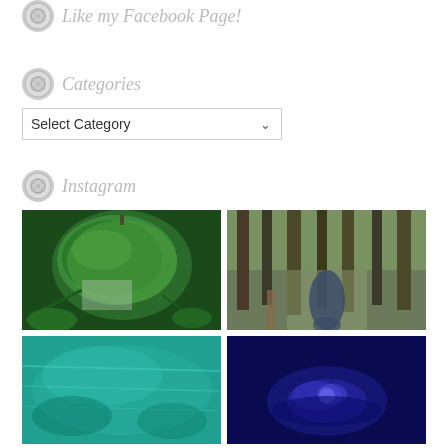Like my Facebook Page!
Categories
Select Category
Instagram
[Figure (photo): Close-up of a large green squash or pumpkin growing in a garden with vines and leaves]
[Figure (photo): Child in plaid shirt walking on a forest trail surrounded by tall pine trees]
[Figure (photo): Turquoise water, possibly a pool or natural spring]
[Figure (photo): Blue-lit scene, possibly an underwater or aquarium photo]